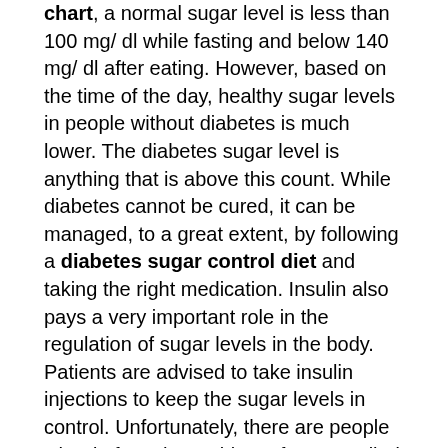chart, a normal sugar level is less than 100 mg/ dl while fasting and below 140 mg/ dl after eating. However, based on the time of the day, healthy sugar levels in people without diabetes is much lower. The diabetes sugar level is anything that is above this count. While diabetes cannot be cured, it can be managed, to a great extent, by following a diabetes sugar control diet and taking the right medication. Insulin also pays a very important role in the regulation of sugar levels in the body. Patients are advised to take insulin injections to keep the sugar levels in control. Unfortunately, there are people who do face the problem of uncontrolled blood sugar with insulin.
Is Uncontrolled Blood Sugar With Insulin Normal?
Data shows that uncontrolled blood sugar with insulin is not uncommon, especially in the first few months of beginning the